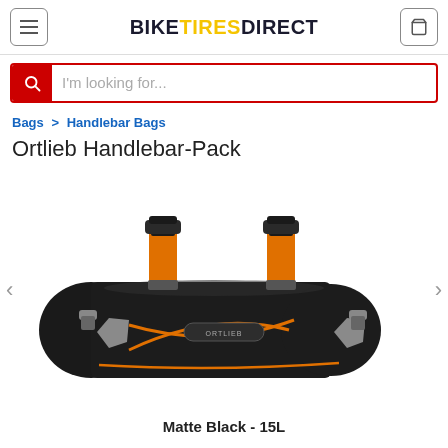BIKETIRESDIRECT
I'm looking for...
Bags > Handlebar Bags
Ortlieb Handlebar-Pack
[Figure (photo): Ortlieb Handlebar-Pack bike bag in Matte Black, cylindrical roll shape with orange straps and mounting hardware, reflective patches, and Ortlieb logo badge on a white background. Navigation arrows on left and right sides.]
Matte Black - 15L